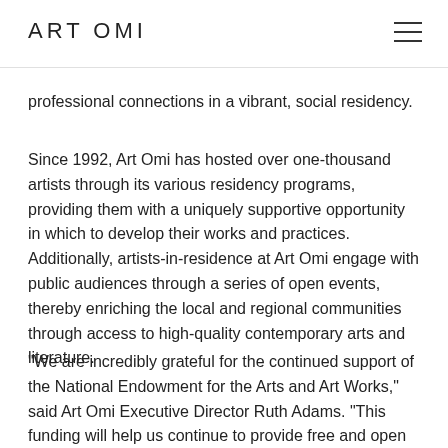ART OMI
professional connections in a vibrant, social residency.
Since 1992, Art Omi has hosted over one-thousand artists through its various residency programs, providing them with a uniquely supportive opportunity in which to develop their works and practices. Additionally, artists-in-residence at Art Omi engage with public audiences through a series of open events, thereby enriching the local and regional communities through access to high-quality contemporary arts and literature.
"We are incredibly grateful for the continued support of the National Endowment for the Arts and Art Works," said Art Omi Executive Director Ruth Adams. "This funding will help us continue to provide free and open spaces for vibrant international art, music, dance, architecture, writing and ideas-and to harness